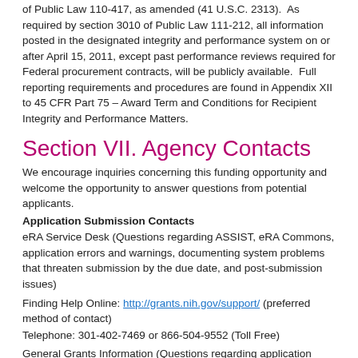of Public Law 110-417, as amended (41 U.S.C. 2313). As required by section 3010 of Public Law 111-212, all information posted in the designated integrity and performance system on or after April 15, 2011, except past performance reviews required for Federal procurement contracts, will be publicly available. Full reporting requirements and procedures are found in Appendix XII to 45 CFR Part 75 – Award Term and Conditions for Recipient Integrity and Performance Matters.
Section VII. Agency Contacts
We encourage inquiries concerning this funding opportunity and welcome the opportunity to answer questions from potential applicants.
Application Submission Contacts
eRA Service Desk (Questions regarding ASSIST, eRA Commons, application errors and warnings, documenting system problems that threaten submission by the due date, and post-submission issues)
Finding Help Online: http://grants.nih.gov/support/ (preferred method of contact)
Telephone: 301-402-7469 or 866-504-9552 (Toll Free)
General Grants Information (Questions regarding application